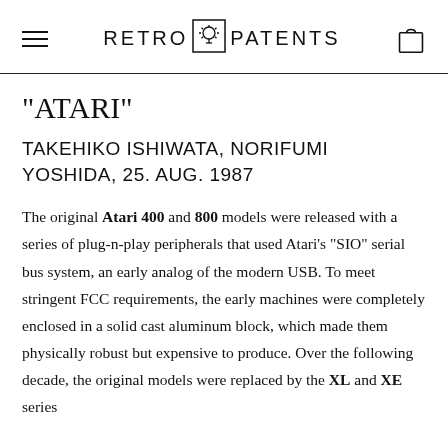RETRO PATENTS
"ATARI"
TAKEHIKO ISHIWATA, NORIFUMI YOSHIDA, 25. AUG. 1987
The original Atari 400 and 800 models were released with a series of plug-n-play peripherals that used Atari's "SIO" serial bus system, an early analog of the modern USB. To meet stringent FCC requirements, the early machines were completely enclosed in a solid cast aluminum block, which made them physically robust but expensive to produce. Over the following decade, the original models were replaced by the XL and XE series